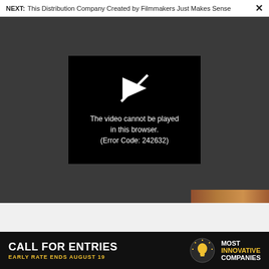NEXT: This Distribution Company Created by Filmmakers Just Makes Sense ×
[Figure (screenshot): Dark gray video player area with a centered black error box showing a play icon (struck through) and the text 'The video cannot be played in this browser. (Error Code: 242632)'. A small thumbnail image strip is visible at the bottom right.]
The video cannot be played in this browser. (Error Code: 242632)
ADVERTISEMENT
[Figure (screenshot): Advertisement panel with white background showing large arced text 'BRANDING' in black uppercase letters]
[Figure (infographic): Black banner ad reading 'CALL FOR ENTRIES' in large white bold text, 'EARLY RATE ENDS AUGUST 19' in yellow, a light bulb icon, and 'Most Innovative Companies' in white/yellow bold text on the right]